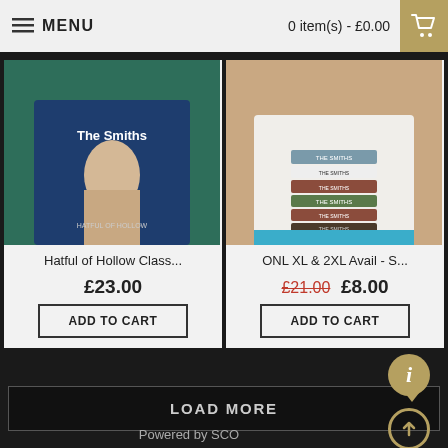MENU   0 item(s) - £0.00
[Figure (photo): Person wearing a navy blue 'The Smiths – Hatful of Hollow' graphic t-shirt]
Hatful of Hollow Class...
£23.00
ADD TO CART
[Figure (photo): Person wearing a white t-shirt with stacked VHS cassette tapes graphic for The Smiths]
ONL XL & 2XL Avail - S...
£21.00  £8.00
ADD TO CART
LOAD MORE
Powered by SCO